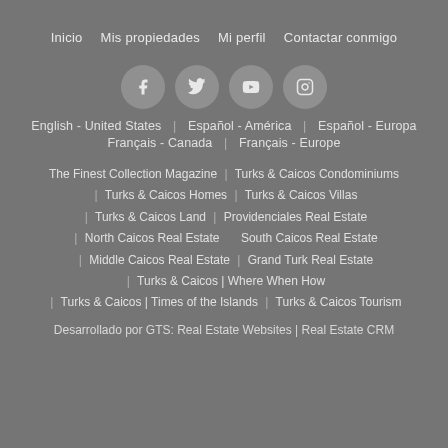Inicio | Mis propiedades | Mi perfil | Contactar conmigo
[Figure (other): Social media icons row: Facebook, Twitter, YouTube, Instagram]
English - United States | Español - América | Español - Europa
Français - Canada | Français - Europe
The Finest Collection Magazine | Turks & Caicos Condominiums
| Turks & Caicos Homes | Turks & Caicos Villas
| Turks & Caicos Land | Providenciales Real Estate
| North Caicos Real Estate | South Caicos Real Estate
| Middle Caicos Real Estate | Grand Turk Real Estate
| Turks & Caicos | Where When How
| Turks & Caicos | Times of the Islands | Turks & Caicos Tourism
Desarrollado por GTS: Real Estate Websites | Real Estate CRM